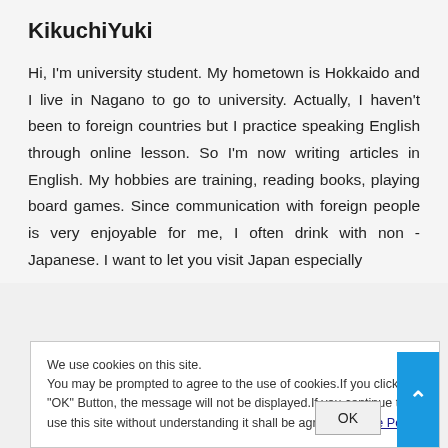KikuchiYuki
Hi, I'm university student. My hometown is Hokkaido and I live in Nagano to go to university. Actually, I haven't been to foreign countries but I practice speaking English through online lesson. So I'm now writing articles in English. My hobbies are training, reading books, playing board games. Since communication with foreign people is very enjoyable for me, I often drink with non - Japanese. I want to let you visit Japan especially
We use cookies on this site.
You may be prompted to agree to the use of cookies.If you click the "OK" Button, the message will not be displayed.If you continue to use this site without understanding it shall be agreed. Cookie Policy